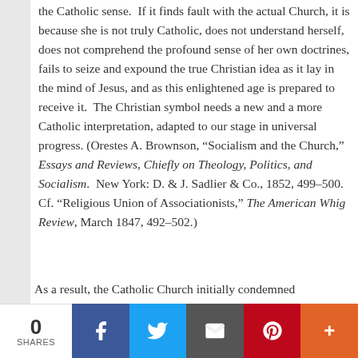the Catholic sense.  If it finds fault with the actual Church, it is because she is not truly Catholic, does not understand herself, does not comprehend the profound sense of her own doctrines, fails to seize and expound the true Christian idea as it lay in the mind of Jesus, and as this enlightened age is prepared to receive it.  The Christian symbol needs a new and a more Catholic interpretation, adapted to our stage in universal progress. (Orestes A. Brownson, “Socialism and the Church,” Essays and Reviews, Chiefly on Theology, Politics, and Socialism.  New York: D. & J. Sadlier & Co., 1852, 499–500.  Cf. “Religious Union of Associationists,” The American Whig Review, March 1847, 492–502.)
As a result, the Catholic Church initially condemned
0 SHARES